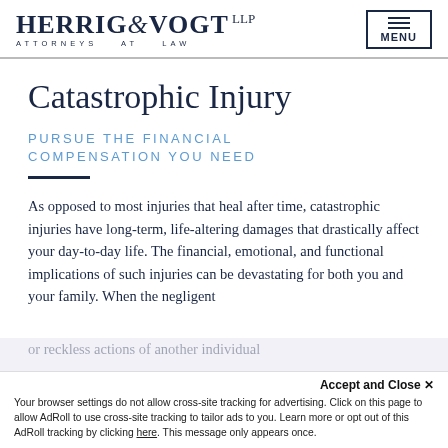HERRIG & VOGT LLP ATTORNEYS AT LAW | MENU
Catastrophic Injury
PURSUE THE FINANCIAL COMPENSATION YOU NEED
As opposed to most injuries that heal after time, catastrophic injuries have long-term, life-altering damages that drastically affect your day-to-day life. The financial, emotional, and functional implications of such injuries can be devastating for both you and your family. When the negligent or reckless actions of another individual... and pursue compensation. Our team of Rensil...
Accept and Close ×
Your browser settings do not allow cross-site tracking for advertising. Click on this page to allow AdRoll to use cross-site tracking to tailor ads to you. Learn more or opt out of this AdRoll tracking by clicking here. This message only appears once.